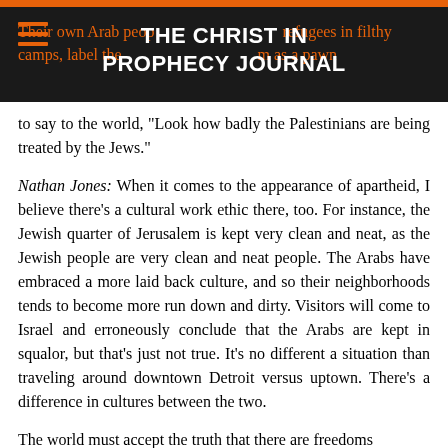THE CHRIST IN PROPHECY JOURNAL
Their own Arab people keep them as refugees in filthy camps, label them as pawns in a political battle to use them as a pawn to say to the world, "Look how badly the Palestinians are being treated by the Jews."
Nathan Jones: When it comes to the appearance of apartheid, I believe there's a cultural work ethic there, too. For instance, the Jewish quarter of Jerusalem is kept very clean and neat, as the Jewish people are very clean and neat people. The Arabs have embraced a more laid back culture, and so their neighborhoods tends to become more run down and dirty. Visitors will come to Israel and erroneously conclude that the Arabs are kept in squalor, but that's just not true. It's no different a situation than traveling around downtown Detroit versus uptown. There's a difference in cultures between the two.
The world must accept the truth that there are freedoms